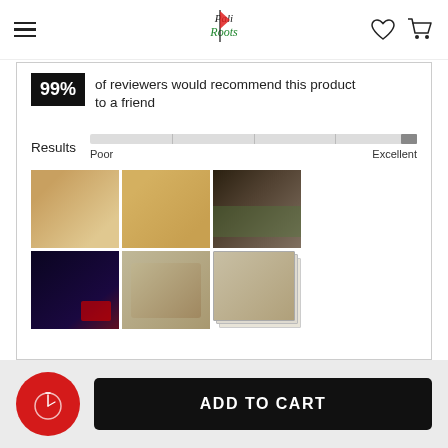Pali Roots navigation header with hamburger menu, logo, heart icon, cart icon
99% of reviewers would recommend this product to a friend
Results  Poor  Excellent
[Figure (photo): Grid of 6 product review photos showing various product images]
ADD TO CART